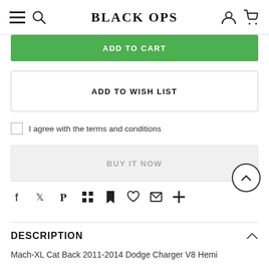BLACK OPS
ADD TO CART
ADD TO WISH LIST
I agree with the terms and conditions
BUY IT NOW
DESCRIPTION
Mach-XL Cat Back 2011-2014 Dodge Charger V8 Hemi